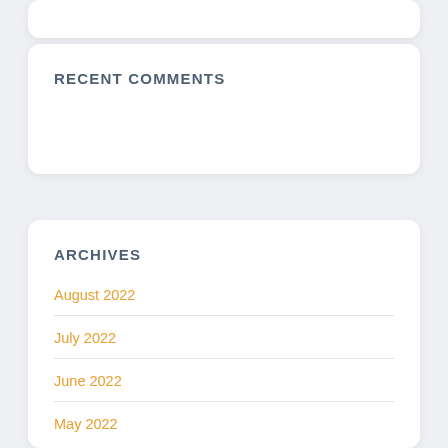RECENT COMMENTS
ARCHIVES
August 2022
July 2022
June 2022
May 2022